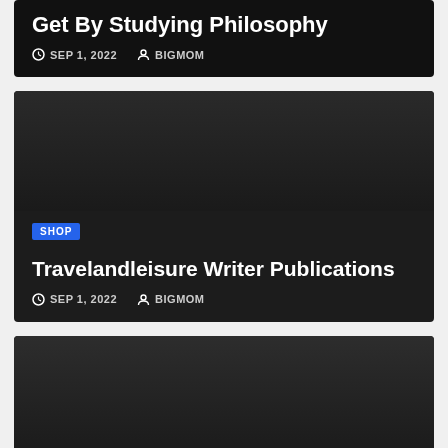Get By Studying Philosophy
SEP 1, 2022   BIGMOM
[Figure (photo): Dark card image area for Travelandleisure Writer Publications article]
Travelandleisure Writer Publications
SEP 1, 2022   BIGMOM
[Figure (photo): Dark card image area for Latest Health News article]
SHOP
Latest Health News